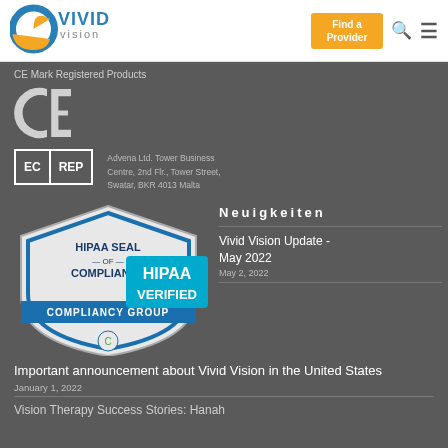[Figure (logo): Vivid Vision logo with circle icon and text]
Find a Provider
CE Mark Registered Products
[Figure (logo): CE mark symbol in white on dark background]
[Figure (logo): EC REP box with Advena Ltd. Tower Business Centre, 2nd Flr., Tower Street, Swatar, BKR 4013 Malta]
[Figure (logo): HIPAA Seal of Compliance shield with HIPAA VERIFIED badge from Compliancy Group]
Neuigkeiten
Vivid Vision Update - May 2022
May 2, 2022
Important announcement about Vivid Vision in the United States
January 1, 2022
Vision Therapy Success Stories: Hanah